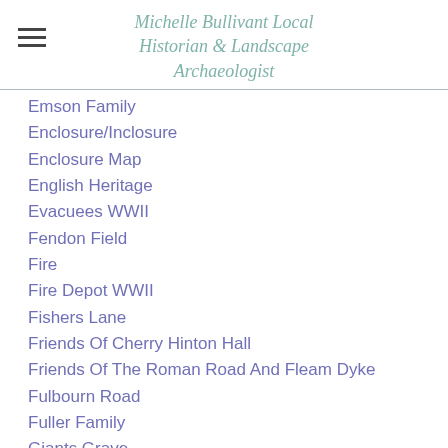Michelle Bullivant Local Historian & Landscape Archaeologist
Emson Family
Enclosure/Inclosure
Enclosure Map
English Heritage
Evacuees WWII
Fendon Field
Fire
Fire Depot WWII
Fishers Lane
Friends Of Cherry Hinton Hall
Friends Of The Roman Road And Fleam Dyke
Fulbourn Road
Fuller Family
Giants Grave
Giants Of Cherry Hinton
Glenmere Close
God's House